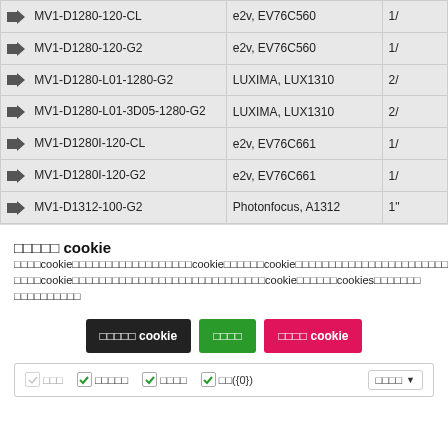| Model | Sensor | Format |
| --- | --- | --- |
| → MV1-D1280-120-CL | e2v, EV76C560 | 1/... |
| → MV1-D1280-120-G2 | e2v, EV76C560 | 1/... |
| → MV1-D1280-L01-1280-G2 | LUXIMA, LUX1310 | 2/... |
| → MV1-D1280-L01-3D05-1280-G2 | LUXIMA, LUX1310 | 2/... |
| → MV1-D1280I-120-CL | e2v, EV76C661 | 1/... |
| → MV1-D1280I-120-G2 | e2v, EV76C661 | 1/... |
| → MV1-D1312-100-G2 | Photonfocus, A1312 | 1" |
□□□□□ cookie
□□□□cookie□□□□□□□□□□□□□□□□□□□□□cookie□□□□□□□cookie□□□□□□□□□□□□□□□□□□□□□□□□□□□□□□cookie□□□□□□□□□□□□□□□□□□□□□□□□□□□□□□□□cookie□□□□□□cookies□□□□□□□□□□□□□□□□
□□□□□ cookie  □□□□  □□□□ cookie